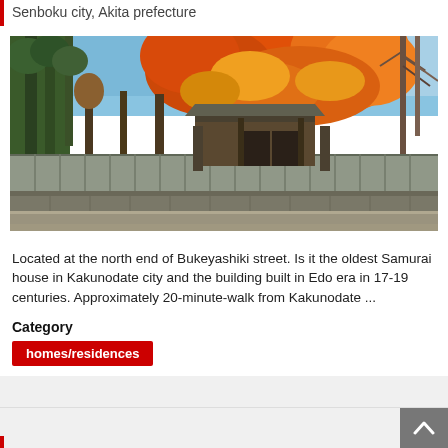Senboku city, Akita prefecture
[Figure (photo): Outdoor photo of a traditional Japanese samurai house in autumn. The scene shows vivid orange and red maple trees overhead, with a wooden fence/gate structure at the base. A road or path is visible in the foreground.]
Located at the north end of Bukeyashiki street. Is it the oldest Samurai house in Kakunodate city and the building built in Edo era in 17-19 centuries. Approximately 20-minute-walk from Kakunodate ...
Category
homes/residences